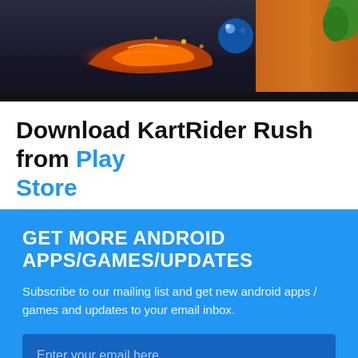[Figure (photo): Hero image showing colorful racing kart game scene with glowing kart and marbles on dark surface, with orange wood background on right]
Download KartRider Rush from Play Store
Leave your feedback regarding KartRider Rush
GET MORE ANDROID APPS/GAMES/UPDATES
Subscribe to our mailing list and get new android apps / games and updates to your email inbox.
Enter your email here
I consent to my submitted data being collected via this